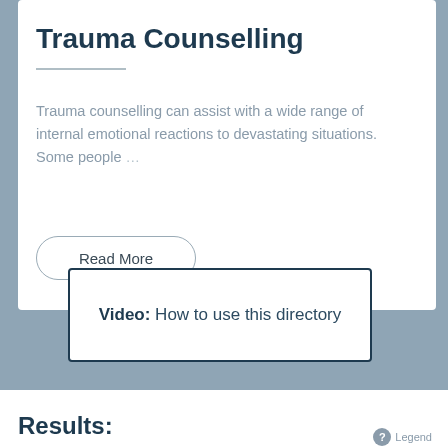Trauma Counselling
Trauma counselling can assist with a wide range of internal emotional reactions to devastating situations. Some people
Read More
Video: How to use this directory
Results:
Legend